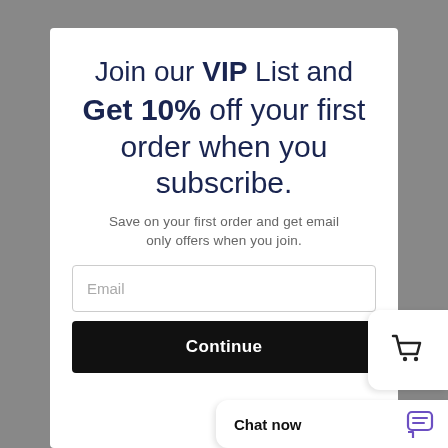Join our VIP List and Get 10% off your first order when you subscribe.
Save on your first order and get email only offers when you join.
Email
Continue
[Figure (other): Shopping cart icon widget on the right edge]
Chat now